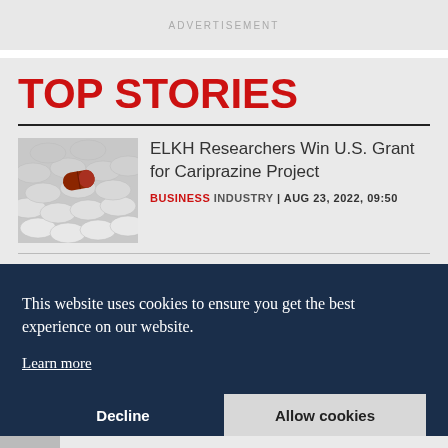ADVERTISEMENT
TOP STORIES
[Figure (photo): Pile of white pills with one red-brown capsule on top]
ELKH Researchers Win U.S. Grant for Cariprazine Project
BUSINESS INDUSTRY | AUG 23, 2022, 09:50
This website uses cookies to ensure you get the best experience on our website.
Learn more
Decline
Allow cookies